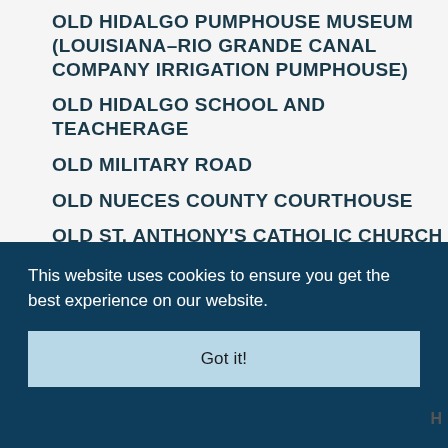OLD HIDALGO PUMPHOUSE MUSEUM (LOUISIANA–RIO GRANDE CANAL COMPANY IRRIGATION PUMPHOUSE)
OLD HIDALGO SCHOOL AND TEACHERAGE
OLD MILITARY ROAD
OLD NUECES COUNTY COURTHOUSE
OLD ST. ANTHONY'S CATHOLIC CHURCH
OLIVERA DRY GOODS STORE
This website uses cookies to ensure you get the best experience on our website.
Got it!